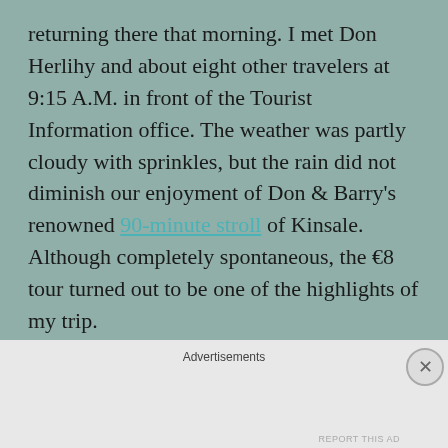returning there that morning. I met Don Herlihy and about eight other travelers at 9:15 A.M. in front of the Tourist Information office. The weather was partly cloudy with sprinkles, but the rain did not diminish our enjoyment of Don & Barry's renowned 90-minute stroll of Kinsale. Although completely spontaneous, the €8 tour turned out to be one of the highlights of my trip.
Kinsale, from the Irish, Ceann tSaile, meaning Head of the Sea is a medieval fishing port renowned in Ireland for its fine food to this day. Because of its
Advertisements